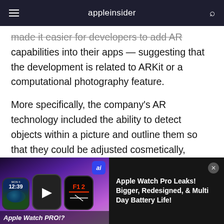appleinsider
made it easier for developers to add AR capabilities into their apps — suggesting that the development is related to ARKit or a computational photography feature.
More specifically, the company's AR technology included the ability to detect objects within a picture and outline them so that they could be adjusted cosmetically, TechCrunch reported. The company had created an SDK that allowed
[Figure (screenshot): Advertisement banner for Apple Watch Pro video content. Left side shows three Apple Watch mockups on a purple/dark gradient background with 'ai' badge and 'Apple Watch PRO!?' caption. Right side shows dark background with text 'Apple Watch Pro Leaks! Bigger, Redesigned, & Multi Day Battery Life!']